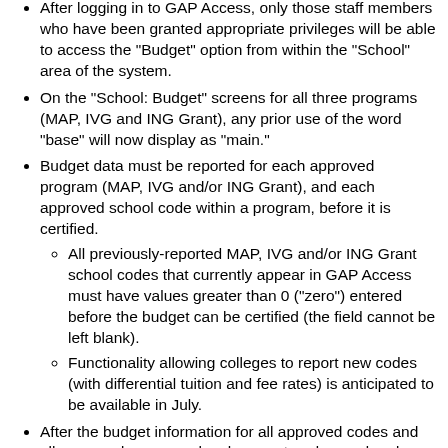After logging in to GAP Access, only those staff members who have been granted appropriate privileges will be able to access the "Budget" option from within the "School" area of the system.
On the "School: Budget" screens for all three programs (MAP, IVG and ING Grant), any prior use of the word "base" will now display as "main."
Budget data must be reported for each approved program (MAP, IVG and/or ING Grant), and each approved school code within a program, before it is certified.
All previously-reported MAP, IVG and/or ING Grant school codes that currently appear in GAP Access must have values greater than 0 ("zero") entered before the budget can be certified (the field cannot be left blank).
Functionality allowing colleges to report new codes (with differential tuition and fee rates) is anticipated to be available in July.
After the budget information for all approved codes and all approved programs has been entered, saved and confirmed and the institution's required tuition refund policy document has been uploaded and saved, the financial aid director will need to submit the data by selecting the "Certify" button.
If you have questions, contact a School Services